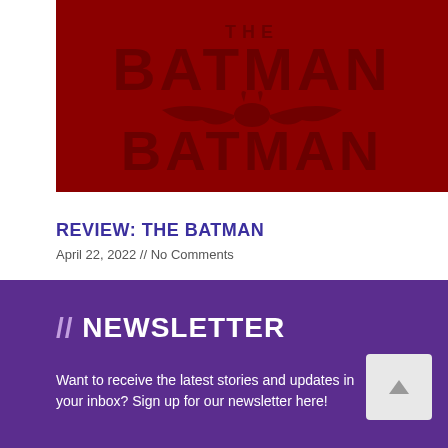[Figure (illustration): The Batman movie logo/title card on a deep red background, featuring a large bat silhouette and the text 'THE BATMAN' in bold dark red letters]
REVIEW: THE BATMAN
April 22, 2022 // No Comments
// NEWSLETTER
Want to receive the latest stories and updates in your inbox? Sign up for our newsletter here!